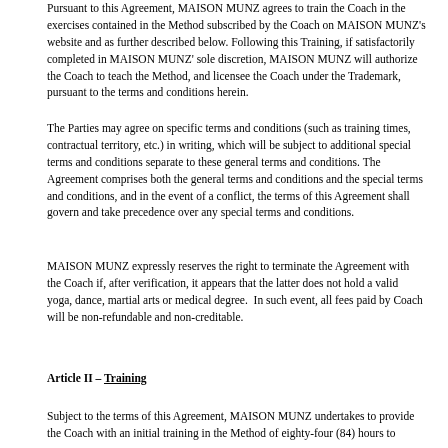Pursuant to this Agreement, MAISON MUNZ agrees to train the Coach in the exercises contained in the Method subscribed by the Coach on MAISON MUNZ's website and as further described below. Following this Training, if satisfactorily completed in MAISON MUNZ' sole discretion, MAISON MUNZ will authorize the Coach to teach the Method, and licensee the Coach under the Trademark, pursuant to the terms and conditions herein.
The Parties may agree on specific terms and conditions (such as training times, contractual territory, etc.) in writing, which will be subject to additional special terms and conditions separate to these general terms and conditions. The Agreement comprises both the general terms and conditions and the special terms and conditions, and in the event of a conflict, the terms of this Agreement shall govern and take precedence over any special terms and conditions.
MAISON MUNZ expressly reserves the right to terminate the Agreement with the Coach if, after verification, it appears that the latter does not hold a valid yoga, dance, martial arts or medical degree.  In such event, all fees paid by Coach will be non-refundable and non-creditable.
Article II – Training
Subject to the terms of this Agreement, MAISON MUNZ undertakes to provide the Coach with an initial training in the Method of eighty-four (84) hours to